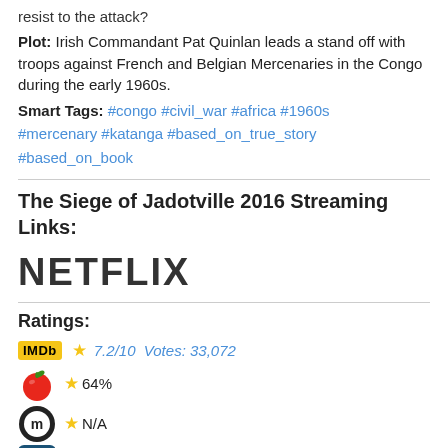resist to the attack?
Plot: Irish Commandant Pat Quinlan leads a stand off with troops against French and Belgian Mercenaries in the Congo during the early 1960s.
Smart Tags: #congo #civil_war #africa #1960s #mercenary #katanga #based_on_true_story #based_on_book
The Siege of Jadotville 2016 Streaming Links:
[Figure (logo): Netflix logo in large dark gray bold uppercase text]
Ratings:
IMDb ★7.2/10 Votes: 33,072
★ 64%
★N/A